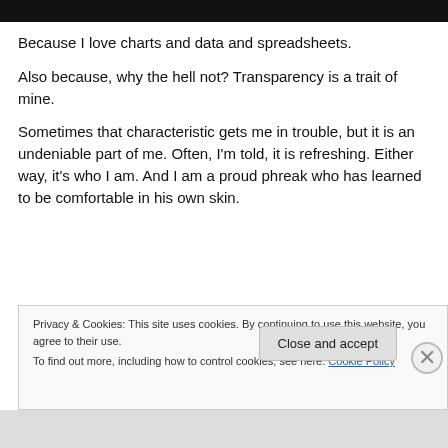[Figure (photo): Dark/black image strip at top of page]
Because I love charts and data and spreadsheets.
Also because, why the hell not? Transparency is a trait of mine.
Sometimes that characteristic gets me in trouble, but it is an undeniable part of me. Often, I'm told, it is refreshing. Either way, it's who I am. And I am a proud phreak who has learned to be comfortable in his own skin.
Privacy & Cookies: This site uses cookies. By continuing to use this website, you agree to their use.
To find out more, including how to control cookies, see here: Cookie Policy